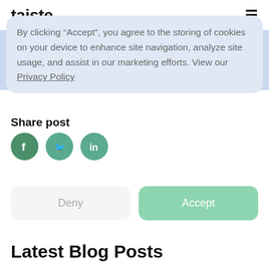taiste
product management. In his free time, Eeppi enjoys yoga, meditation, journaling, reading, hiking and airsoft.
By clicking “Accept”, you agree to the storing of cookies on your device to enhance site navigation, analyze site usage, and assist in our marketing efforts. View our Privacy Policy
Share post
[Figure (infographic): Social share icons: Facebook (f), Twitter (bird), LinkedIn (in)]
Deny
Accept
Latest Blog Posts